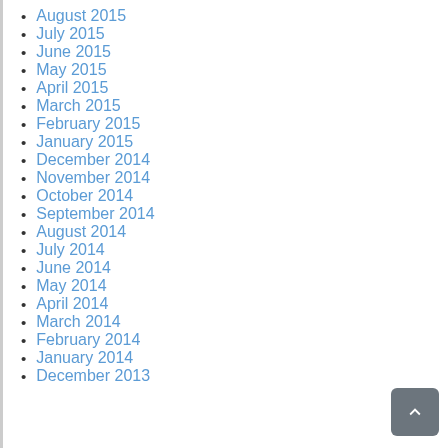August 2015
July 2015
June 2015
May 2015
April 2015
March 2015
February 2015
January 2015
December 2014
November 2014
October 2014
September 2014
August 2014
July 2014
June 2014
May 2014
April 2014
March 2014
February 2014
January 2014
December 2013